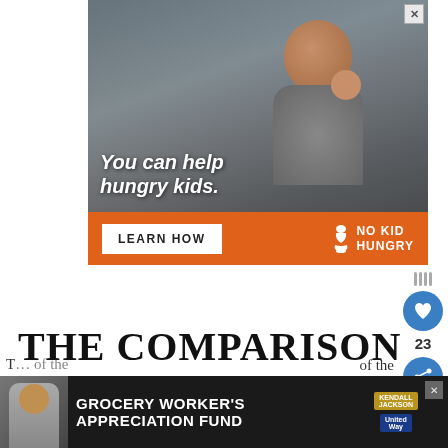[Figure (photo): Advertisement banner: Photo of a young boy eating in a classroom with text 'You can help hungry kids.' overlaid on the photo. Below is an orange bar with 'LEARN HOW' button and 'NO KID HUNGRY' logo.]
[Figure (infographic): Social sidebar with a blue circular heart/save icon, count '23', and a blue circular share icon.]
THE COMPARISON
[Figure (photo): Advertisement banner at bottom: dark background with photo of grocery worker on left, text 'GROCERY WORKER'S APPRECIATION FUND', Kendall-Jackson and United Way logos.]